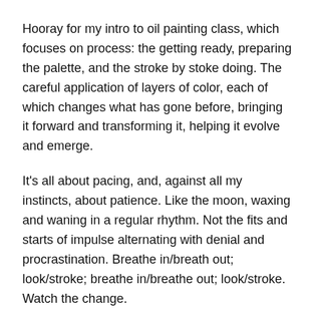Hooray for my intro to oil painting class, which focuses on process: the getting ready, preparing the palette, and the stroke by stoke doing. The careful application of layers of color, each of which changes what has gone before, bringing it forward and transforming it, helping it evolve and emerge.
It's all about pacing, and, against all my instincts, about patience. Like the moon, waxing and waning in a regular rhythm. Not the fits and starts of impulse alternating with denial and procrastination. Breathe in/breath out; look/stroke; breathe in/breathe out; look/stroke. Watch the change.
That's at the core of this weeks reading. After the last plague (the slaying of the Egyptian firstborn) and even before the Jews leave Egypt, they're given their first